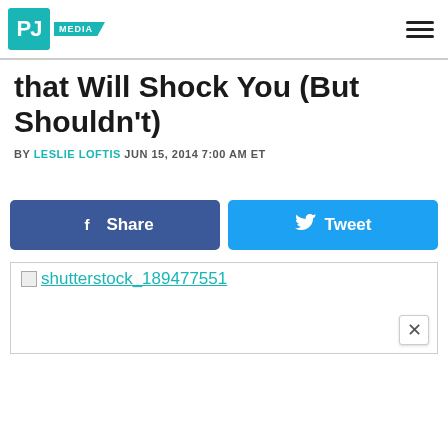PJ MEDIA
that Will Shock You (But Shouldn't)
BY LESLIE LOFTIS JUN 15, 2014 7:00 AM ET
[Figure (other): Facebook Share button and Twitter Tweet button]
[Figure (photo): Shutterstock image placeholder with link text 'shutterstock_189477551']